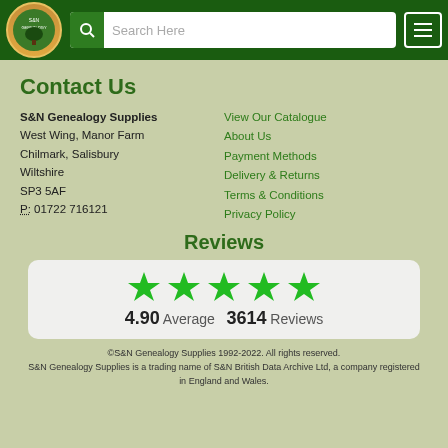S&N Genealogy Supplies - header with logo, search bar, and menu button
Contact Us
S&N Genealogy Supplies
West Wing, Manor Farm
Chilmark, Salisbury
Wiltshire
SP3 5AF
P: 01722 716121
View Our Catalogue
About Us
Payment Methods
Delivery & Returns
Terms & Conditions
Privacy Policy
Reviews
[Figure (other): 5 green stars rating display with 4.90 Average and 3614 Reviews]
©S&N Genealogy Supplies 1992-2022. All rights reserved.
S&N Genealogy Supplies is a trading name of S&N British Data Archive Ltd, a company registered in England and Wales.